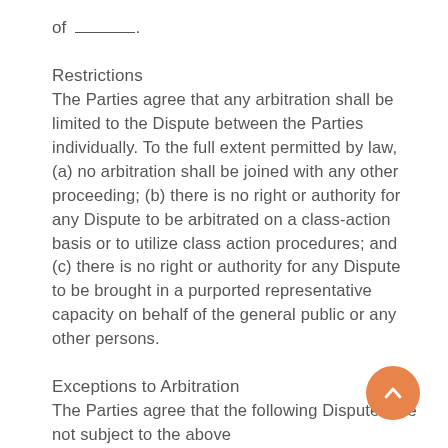of _______.
Restrictions
The Parties agree that any arbitration shall be limited to the Dispute between the Parties individually. To the full extent permitted by law, (a) no arbitration shall be joined with any other proceeding; (b) there is no right or authority for any Dispute to be arbitrated on a class-action basis or to utilize class action procedures; and (c) there is no right or authority for any Dispute to be brought in a purported representative capacity on behalf of the general public or any other persons.
Exceptions to Arbitration
The Parties agree that the following Disputes are not subject to the above